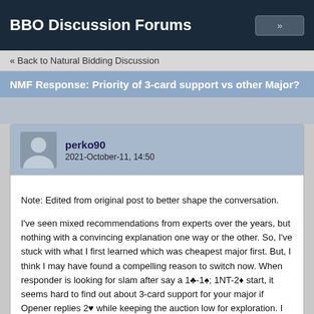BBO Discussion Forums
« Back to Natural Bidding Discussion
NMF Response: Priority of 3-card support vs other Major?
perko90
2021-October-11, 14:50
Note: Edited from original post to better shape the conversation.

I've seen mixed recommendations from experts over the years, but nothing with a convincing explanation one way or the other. So, I've stuck with what I first learned which was cheapest major first. But, I think I may have found a compelling reason to switch now. When responder is looking for slam after say a 1♣-1♠; 1NT-2♦ start, it seems hard to find out about 3-card support for your major if Opener replies 2♥ while keeping the auction low for exploration. I don't want this thread to devolve into a NMF vs checkback vs XYNT discussion. So, as not to debate the various flaws of vanilla